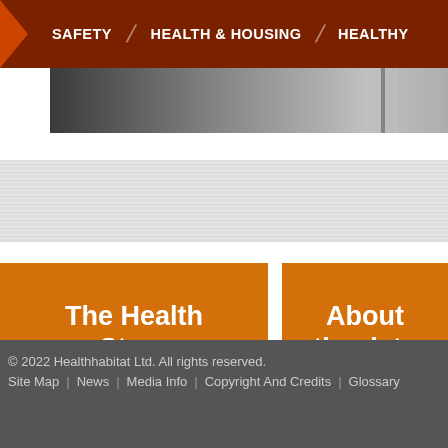SAFETY | HEALTH & HOUSING | HEALTHY
[Figure (photo): Partial view of a corridor or hallway with metallic/glass doors, shown as a horizontal photo strip]
[Figure (other): Gray textured horizontal band]
The Health Story
About the data
© 2022 Healthhabitat Ltd. All rights reserved. Site Map | News | Media Info | Copyright And Credits | Glossary